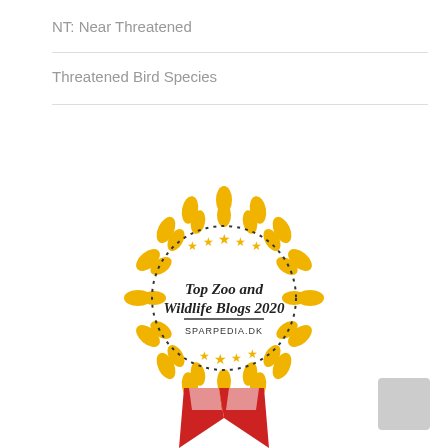NT: Near Threatened
Threatened Bird Species
[Figure (logo): Gold laurel wreath badge with dotted inner circle, three gold stars at top and bottom, text 'Top Zoo and Wildlife Blogs 2020' in italic script, underline, and 'SPARPEDIA.DK' in uppercase below]
[Figure (logo): Partial red and white ribbon/medal at the bottom of the page]